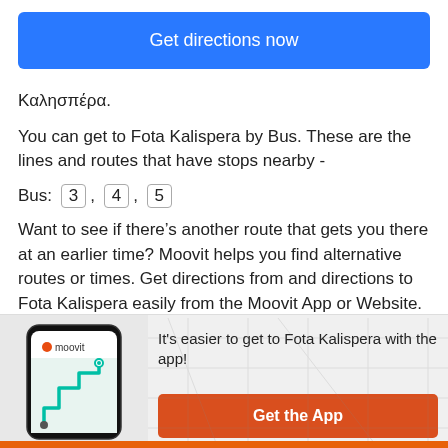[Figure (screenshot): Blue 'Get directions now' button]
Καλησπέρα.
You can get to Fota Kalispera by Bus. These are the lines and routes that have stops nearby -
Bus: 3, 4, 5
Want to see if there's another route that gets you there at an earlier time? Moovit helps you find alternative routes or times. Get directions from and directions to Fota Kalispera easily from the Moovit App or Website.
We make riding to Fota Kalispera easy, which is why over 930 million users, including users in Δήμος
[Figure (screenshot): Moovit app phone mockup with teal route line]
It's easier to get to Fota Kalispera with the app!
[Figure (screenshot): Orange 'Get the App' button]